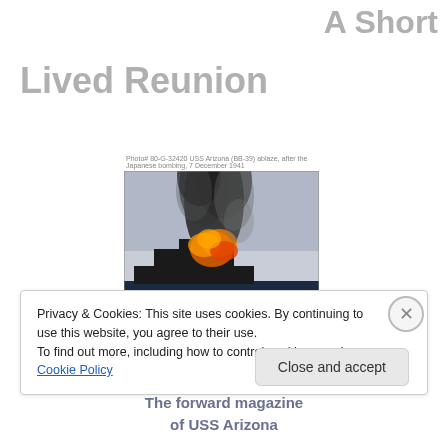A Short
Lived Reunion
[Figure (photo): Historical photograph of the USS Arizona battleship with a large explosion and smoke plume rising from the forward magazine during the attack on Pearl Harbor, December 7, 1941. Small caption text above the image reads: Photo# 80-G-32420: USS Arizona (BB-39) ablaze, after the Japanese bombing, 7 December 1941]
The forward magazine of USS Arizona
Privacy & Cookies: This site uses cookies. By continuing to use this website, you agree to their use.
To find out more, including how to control cookies, see here: Cookie Policy